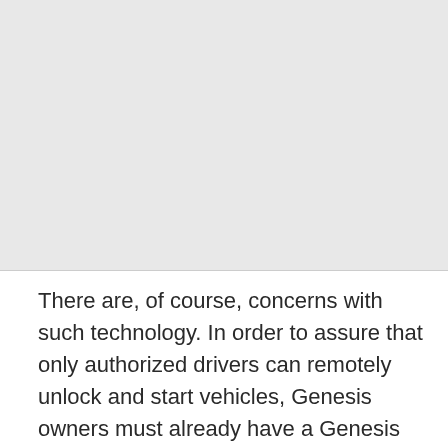[Figure (photo): A light gray rectangular placeholder image occupying the top portion of the page.]
There are, of course, concerns with such technology. In order to assure that only authorized drivers can remotely unlock and start vehicles, Genesis owners must already have a Genesis Connected Service account and will be asked for their PIN...